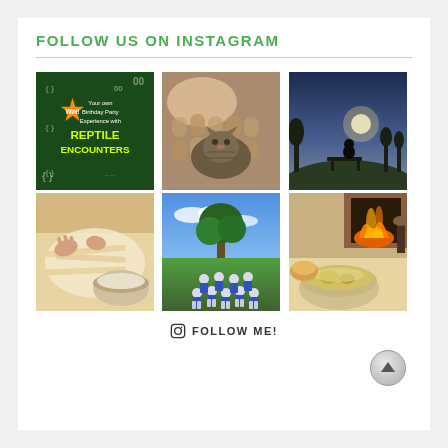FOLLOW US ON INSTAGRAM
[Figure (illustration): Green promotional card: WIN! badge, text 'Your own Birthday Party Experience with REPTILE ENCOUNTERS' on dark green background with decorative brackets]
[Figure (photo): Child lying with a tabby cat on a chunky knit blanket]
[Figure (photo): Silhouette of person sitting on outdoor bench at sunset/dusk with trees]
[Figure (photo): Hands rolling out pasta dough with a mixing bowl]
[Figure (photo): Sports team huddled together on a grass field in blue and white uniforms]
[Figure (photo): Bowl of soup with bread on a table, fireplace in the background]
FOLLOW ME!